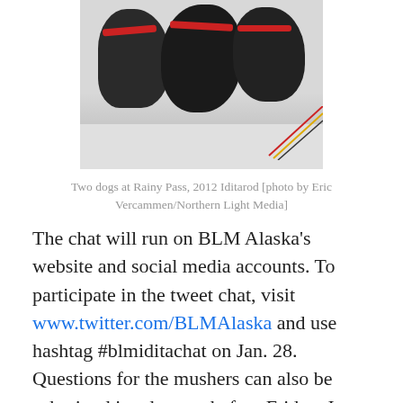[Figure (photo): Three sled dogs wearing red harnesses eating from the snow at Rainy Pass during the 2012 Iditarod race, with colorful ropes visible in the background.]
Two dogs at Rainy Pass, 2012 Iditarod [photo by Eric Vercammen/Northern Light Media]
The chat will run on BLM Alaska’s website and social media accounts. To participate in the tweet chat, visit www.twitter.com/BLMAlaska and use hashtag #blmiditachat on Jan. 28. Questions for the mushers can also be submitted in advance, before Friday, Jan. 23, via email to blmalaska@blm.gov or as direct messages on Twitter to @BLMAlaska.